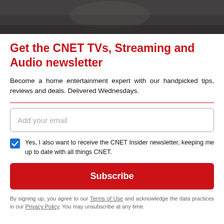[Figure (photo): Dark photo strip at top showing a blurred image, likely a person or scene]
Get the CNET TVs, Streaming and Audio newsletter
Become a home entertainment expert with our handpicked tips, reviews and deals. Delivered Wednesdays.
Add your email
Yes, I also want to receive the CNET Insider newsletter, keeping me up to date with all things CNET.
Subscribe
By signing up, you agree to our Terms of Use and acknowledge the data practices in our Privacy Policy. You may unsubscribe at any time.